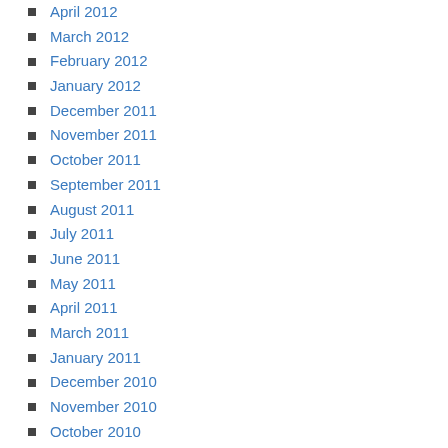April 2012
March 2012
February 2012
January 2012
December 2011
November 2011
October 2011
September 2011
August 2011
July 2011
June 2011
May 2011
April 2011
March 2011
January 2011
December 2010
November 2010
October 2010
September 2010
August 2010
July 2010
Meta
Log in
Entries feed